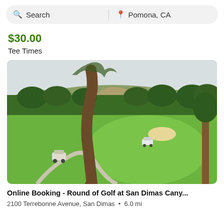Search | Pomona, CA
$30.00
Tee Times
[Figure (photo): Golf course photo showing green fairway with trees, a winding cart path, two golf carts, sand bunker, and hills/mountains in the background.]
Online Booking - Round of Golf at San Dimas Cany...
2100 Terrebonne Avenue, San Dimas  •  6.0 mi